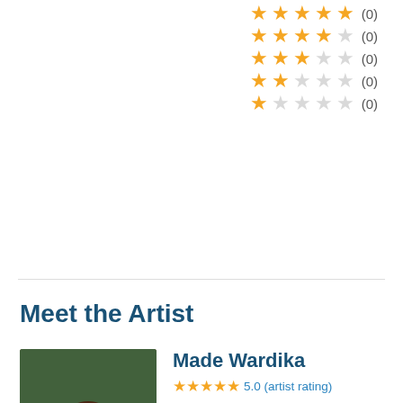[Figure (infographic): Star rating rows: 5-star (0), 4-star (0), 3-star (0), 2-star (0), 1-star (0) displayed as yellow filled and grey empty stars on right side]
Meet the Artist
[Figure (photo): Photo of Made Wardika, a smiling man wearing a traditional Balinese head covering and pink/magenta shirt]
Made Wardika
5.0 (artist rating)
"My designs are inspired by the rich cultures and art of Bali traditions."
Latest Update "I joined Novica in 2015. Thanks to Novica, I have been able to provide financial comfort to